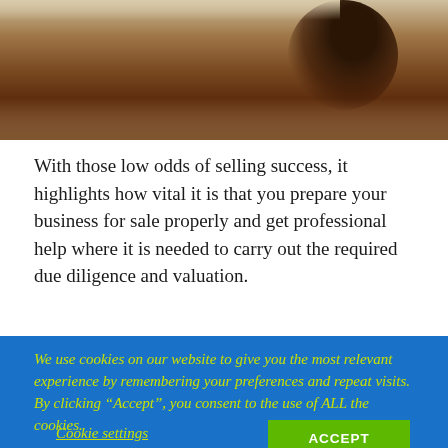[Figure (photo): Partial photo showing a wooden surface with dark brown tones, possibly a desk or table with a person visible at the top right edge.]
With those low odds of selling success, it highlights how vital it is that you prepare your business for sale properly and get professional help where it is needed to carry out the required due diligence and valuation.
Have a plan
We use cookies on our website to give you the most relevant experience by remembering your preferences and repeat visits. By clicking “Accept”, you consent to the use of ALL the cookies.
Cookie settings
ACCEPT